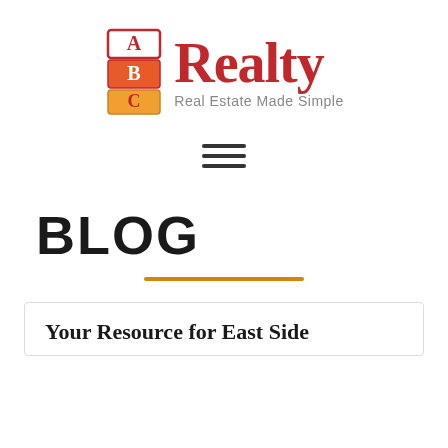[Figure (logo): ABC Realty logo with stacked colored blocks showing letters A, B, C and the text 'Realty' in red serif font with tagline 'Real Estate Made Simple']
[Figure (other): Hamburger menu icon (three horizontal lines)]
BLOG
[Figure (other): Orange horizontal decorative divider line]
Your Resource for East Side